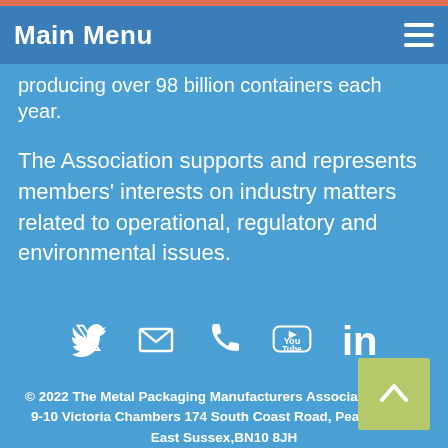Main Menu
producing over 98 billion containers each year.
The Association supports and represents members' interests on industry matters related to operational, regulatory and environmental issues.
[Figure (infographic): Social media icons: Twitter, Email/Envelope, Phone, YouTube, LinkedIn]
© 2022 The Metal Packaging Manufacturers Association, Suite 9-10 Victoria Chambers 174 South Coast Road, Peacehaven, East Sussex,BN10 8JH
HTML Sitemap - XML Sitemap - Privacy Policy - Cookies - Site by Technique Web